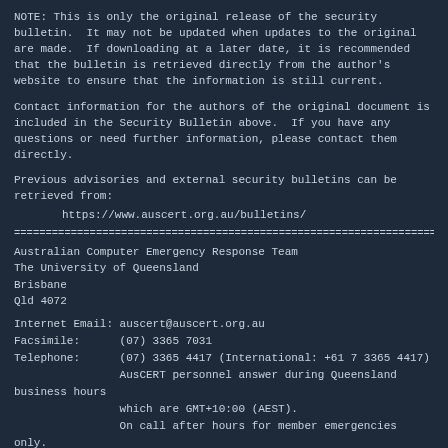NOTE: This is only the original release of the security bulletin.  It may not be updated when updates to the original are made.  If downloading at a later date, it is recommended that the bulletin is retrieved directly from the author's website to ensure that the information is still current.
Contact information for the authors of the original document is included in the Security Bulletin above.  If you have any questions or need further information, please contact them directly.
Previous advisories and external security bulletins can be retrieved from:
https://www.auscert.org.au/bulletins/
==============================================================================
Australian Computer Emergency Response Team
The University of Queensland
Brisbane
Qld 4072
Internet Email: auscert@auscert.org.au
Facsimile:      (07) 3365 7031
Telephone:      (07) 3365 4417 (International: +61 7 3365 4417)
                AusCERT personnel answer during Queensland business hours
                which are GMT+10:00 (AEST).
                On call after hours for member emergencies only.
==============================================================================
-----BEGIN PGP SIGNATURE-----
Comment: http://www.auscert.org.au/render.html?it=1967
iQIVAwUBXOdhJWaOgq3Tt24GAQjcTBAAzCFWfzGjeZ7g5M4OHyGSvnLzOM
4qrpT0Nmae+9fnSpnpnts1Y910aLb59n0du6YqBZHLm7cbKvDzMkXQ8WjDrlU
7iA2UO8R04tLV/fYF0GLdPY1J+flqqiFSvPz7itWaFtT94BRWlLdlYi8ClUsVKqK